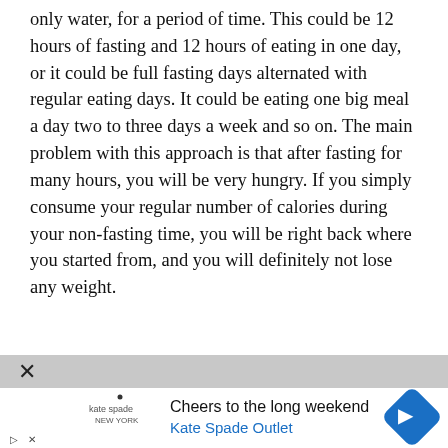only water, for a period of time. This could be 12 hours of fasting and 12 hours of eating in one day, or it could be full fasting days alternated with regular eating days. It could be eating one big meal a day two to three days a week and so on. The main problem with this approach is that after fasting for many hours, you will be very hungry. If you simply consume your regular number of calories during your non-fasting time, you will be right back where you started from, and you will definitely not lose any weight.
Ketosis
[Figure (other): Advertisement overlay: Kate Spade Outlet ad reading 'Cheers to the long weekend' with Kate Spade logo and a blue navigation arrow icon. A close (X) button appears in the top-left corner.]